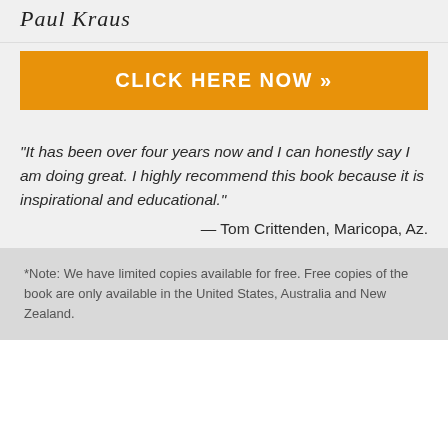Paul Kraus
CLICK HERE NOW »
"It has been over four years now and I can honestly say I am doing great. I highly recommend this book because it is inspirational and educational."
— Tom Crittenden, Maricopa, Az.
*Note: We have limited copies available for free. Free copies of the book are only available in the United States, Australia and New Zealand.